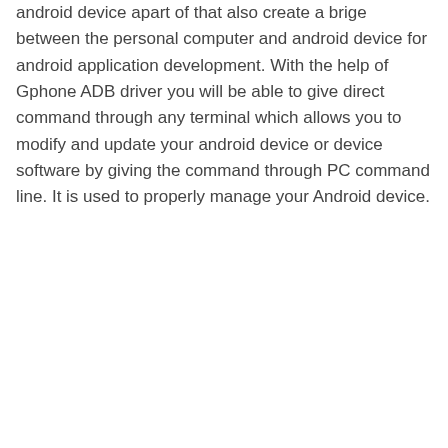android device apart of that also create a brige between the personal computer and android device for android application development. With the help of Gphone ADB driver you will be able to give direct command through any terminal which allows you to modify and update your android device or device software by giving the command through PC command line. It is used to properly manage your Android device.